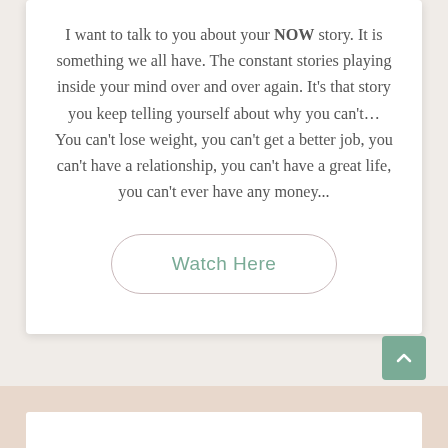I want to talk to you about your NOW story. It is something we all have. The constant stories playing inside your mind over and over again. It's that story you keep telling yourself about why you can't… You can't lose weight, you can't get a better job, you can't have a relationship, you can't have a great life, you can't ever have any money...
[Figure (other): A rounded rectangle button with text 'Watch Here' in muted teal/sage color, with a light pink-gray border]